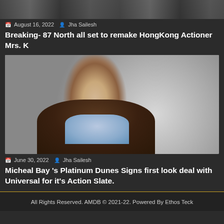[Figure (photo): Cropped top portion of a photo, partially visible at top of page]
August 16, 2022  Jha Sailesh
Breaking- 87 North all set to remake HongKong Actioner Mrs. K
[Figure (photo): Photo of a man with light brown hair wearing a brown leather jacket and light blue shirt, with a blurred crowd in the background]
June 30, 2022  Jha Sailesh
Micheal Bay 's Platinum Dunes Signs first look deal with Universal for it's Action Slate.
All Rights Reserved. AMDB © 2021-22. Powered By Ethos Teck